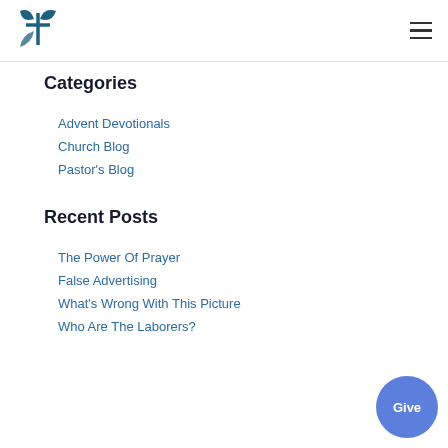[Figure (logo): Church logo: blue cross/compass rose icon]
Categories
Advent Devotionals
Church Blog
Pastor's Blog
Recent Posts
The Power Of Prayer
False Advertising
What's Wrong With This Picture
Who Are The Laborers?